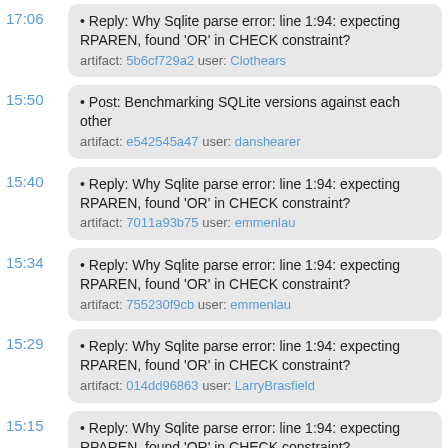17:06 • Reply: Why Sqlite parse error: line 1:94: expecting RPAREN, found 'OR' in CHECK constraint? artifact: 5b6cf729a2 user: Clothears
15:50 • Post: Benchmarking SQLite versions against each other artifact: e542545a47 user: danshearer
15:40 • Reply: Why Sqlite parse error: line 1:94: expecting RPAREN, found 'OR' in CHECK constraint? artifact: 7011a93b75 user: emmenlau
15:34 • Reply: Why Sqlite parse error: line 1:94: expecting RPAREN, found 'OR' in CHECK constraint? artifact: 755230f9cb user: emmenlau
15:29 • Reply: Why Sqlite parse error: line 1:94: expecting RPAREN, found 'OR' in CHECK constraint? artifact: 014dd96863 user: LarryBrasfield
15:15 • Reply: Why Sqlite parse error: line 1:94: expecting RPAREN, found 'OR' in CHECK constraint? artifact: edae3aba69 user: drh